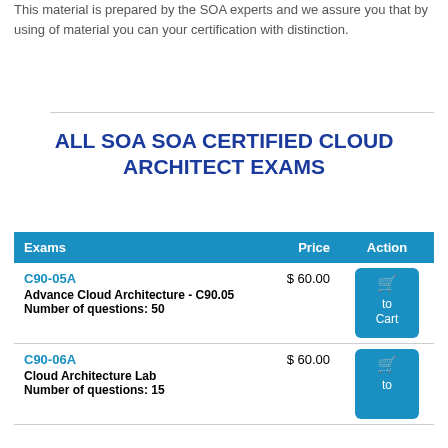This material is prepared by the SOA experts and we assure you that by using of material you can your certification with distinction.
ALL SOA SOA CERTIFIED CLOUD ARCHITECT EXAMS
| Exams | Price | Action |
| --- | --- | --- |
| C90-05A
Advance Cloud Architecture - C90.05
Number of questions: 50 | $ 60.00 | Add to Cart |
| C90-06A
Cloud Architecture Lab
Number of questions: 15 | $ 60.00 | Add to Cart |